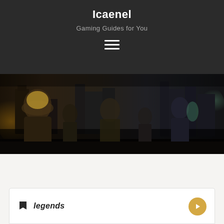Icaenel
Gaming Guides for You
[Figure (illustration): Hamburger menu icon with three horizontal white lines on dark background]
[Figure (photo): Fantasy RPG game artwork showing various characters including a woman with fur trim, a large masked figure, an archer, and other adventurers standing in a dark moody town setting at night]
legends